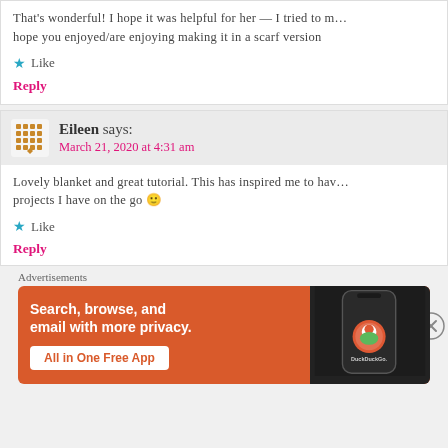That's wonderful! I hope it was helpful for her — I tried to m… hope you enjoyed/are enjoying making it in a scarf version
Like
Reply
Eileen says:
March 21, 2020 at 4:31 am
Lovely blanket and great tutorial. This has inspired me to hav… projects I have on the go 🙂
Like
Reply
Advertisements
[Figure (infographic): DuckDuckGo advertisement banner: orange background with text 'Search, browse, and email with more privacy. All in One Free App' with a phone mockup showing DuckDuckGo logo]